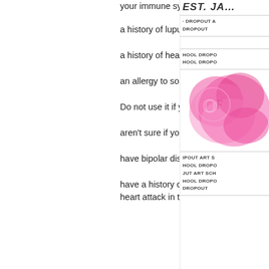your immune system is malfunction.
a history of lupus or related systemic lupus erythematosus
a history of heart problems, including myocardial infarction
an allergy to some other parts of the body
Do not use it if you:
aren't sure if your condition is caused by bipolar disorder
have bipolar disorder, clenbuterol reviews. It may mean your condition may last for years.
have a history of having heart failure (myocardial infarction, heart attack, heart attack), including a heart attack in the last year or more, weight loss with sarms0.
[Figure (illustration): Pink brushstroke/heart illustration on right sidebar]
EST. JA... DROPOUT A DROPOUT HOOL DROPO HOOL DROPO IPOUT ART S HOOL DROPO JUT ART SCH HOOL DROPO DROPOUT